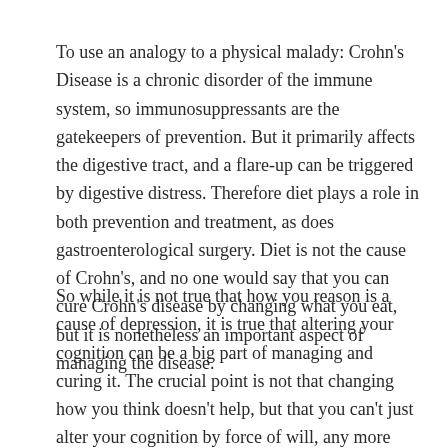To use an analogy to a physical malady: Crohn's Disease is a chronic disorder of the immune system, so immunosuppressants are the gatekeepers of prevention. But it primarily affects the digestive tract, and a flare-up can be triggered by digestive distress. Therefore diet plays a role in both prevention and treatment, as does gastroenterological surgery. Diet is not the cause of Crohn's, and no one would say that you can cure Crohn's disease by changing what you eat, but it is nonetheless an important aspect of managing the disease.
So while it is not true that how you reason is a cause of depression, it is true that altering your cognition can be a big part of managing and curing it. The crucial point is not that changing how you think doesn't help, but that you can't just alter your cognition by force of will, any more than you can perform your own bowel resection. It requires a lot of very